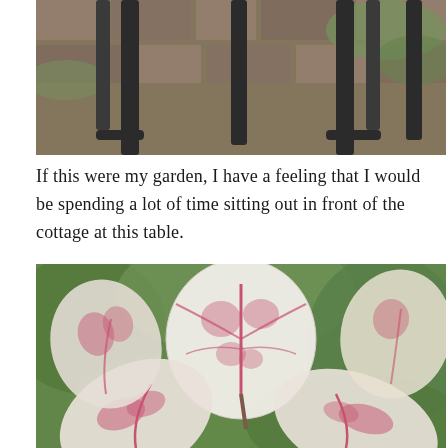[Figure (photo): Close-up photograph of black metal table or chair legs on a brick/stone paved garden area with moss and green plants visible in the background]
If this were my garden, I have a feeling that I would be spending a lot of time sitting out in front of the cottage at this table.
[Figure (photo): Close-up photograph of caladium plants with large heart-shaped leaves featuring white and pink/red variegated patterns, set against a blurred green background]